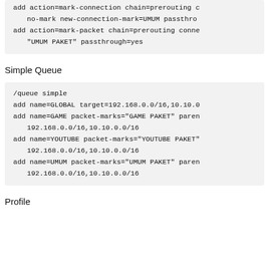add action=mark-connection chain=prerouting c
    no-mark new-connection-mark=UMUM passthr
add action=mark-packet chain=prerouting conne
    "UMUM PAKET" passthrough=yes
Simple Queue
/queue simple
add name=GLOBAL target=192.168.0.0/16,10.10.0
add name=GAME packet-marks="GAME PAKET" paren
    192.168.0.0/16,10.10.0.0/16
add name=YOUTUBE packet-marks="YOUTUBE PAKET"
    192.168.0.0/16,10.10.0.0/16
add name=UMUM packet-marks="UMUM PAKET" paren
    192.168.0.0/16,10.10.0.0/16
Profile